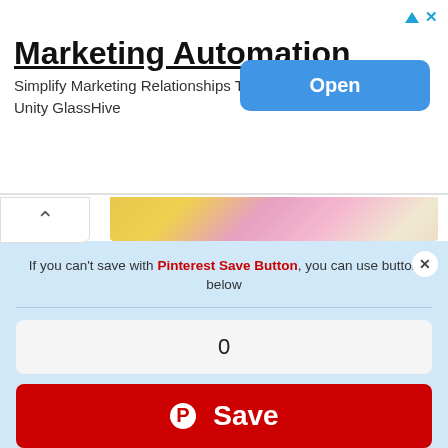[Figure (screenshot): Advertisement banner for Marketing Automation with Open button]
Marketing Automation
Simplify Marketing Relationships Through Platform Unity GlassHive
[Figure (screenshot): Pinterest Save Button popup overlay with count 0 and red Save button, over photo of child in pink dress with balloons]